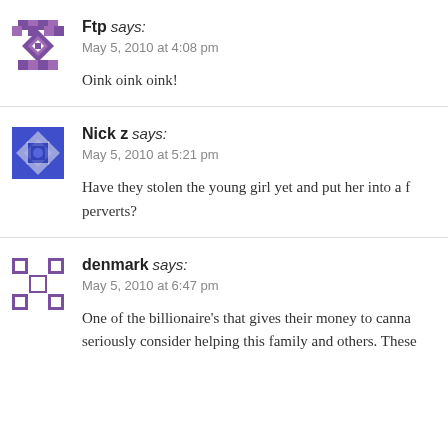Ftp says: May 5, 2010 at 4:08 pm
Oink oink oink!
Nick z says: May 5, 2010 at 5:21 pm
Have they stolen the young girl yet and put her into a f... perverts?
denmark says: May 5, 2010 at 6:47 pm
One of the billionaire's that gives their money to canna... seriously consider helping this family and others. These...